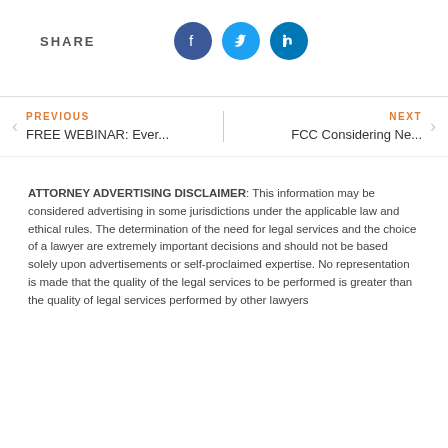[Figure (infographic): SHARE label with three social media icons: Facebook (dark blue), Twitter (light blue), LinkedIn (teal blue)]
PREVIOUS
FREE WEBINAR: Ever...
NEXT
FCC Considering Ne...
ATTORNEY ADVERTISING DISCLAIMER: This information may be considered advertising in some jurisdictions under the applicable law and ethical rules. The determination of the need for legal services and the choice of a lawyer are extremely important decisions and should not be based solely upon advertisements or self-proclaimed expertise. No representation is made that the quality of the legal services to be performed is greater than the quality of legal services performed by other lawyers